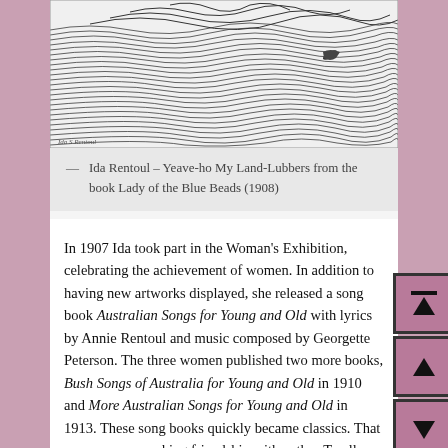[Figure (illustration): Black and white ink illustration showing waves and figures, signed 'Ida Rentoul' at bottom left]
— Ida Rentoul – Yeave-ho My Land-Lubbers from the book Lady of the Blue Beads (1908)
In 1907 Ida took part in the Woman's Exhibition, celebrating the achievement of women. In addition to having new artworks displayed, she released a song book Australian Songs for Young and Old with lyrics by Annie Rentoul and music composed by Georgette Peterson. The three women published two more books, Bush Songs of Australia for Young and Old in 1910 and More Australian Songs for Young and Old in 1913. These song books quickly became classics. That same year, a working friendship with author Tarella Quin was started with the production of Gum Tree Brownie and other Faerie Folk of